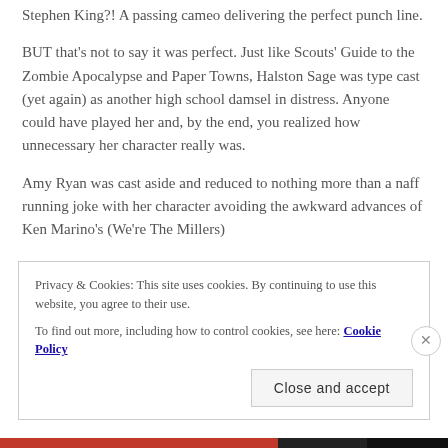Stephen King?! A passing cameo delivering the perfect punch line.
BUT that's not to say it was perfect. Just like Scouts' Guide to the Zombie Apocalypse and Paper Towns, Halston Sage was type cast (yet again) as another high school damsel in distress. Anyone could have played her and, by the end, you realized how unnecessary her character really was.
Amy Ryan was cast aside and reduced to nothing more than a naff running joke with her character avoiding the awkward advances of Ken Marino's (We're The Millers)
Privacy & Cookies: This site uses cookies. By continuing to use this website, you agree to their use.
To find out more, including how to control cookies, see here: Cookie Policy